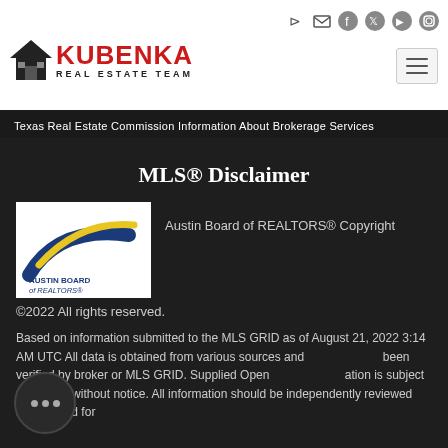[Figure (logo): Kubenka Real Estate Team logo with house icon and red KUBENKA text]
Texas Real Estate Commission Information About Brokerage Services
MLS® Disclaimer
[Figure (logo): Austin Board of REALTORS® logo with blue and yellow swoosh]
Austin Board of REALTORS® Copyright
©2022 All rights reserved.
Based on information submitted to the MLS GRID as of August 21, 2022 3:14 AM UTC All data is obtained from various sources and may not been verified by broker or MLS GRID. Supplied Open House Information is subject to change without notice. All information should be independently reviewed and verified for